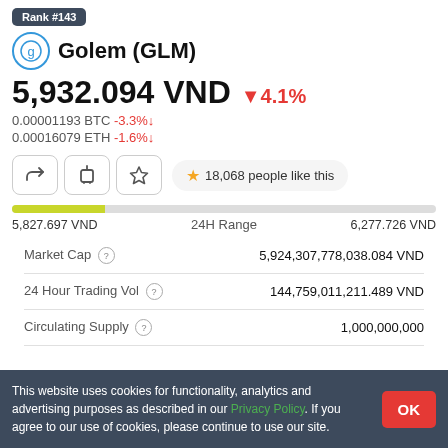Rank #143
Golem (GLM)
5,932.094 VND ▼4.1%
0.00001193 BTC -3.3%↓
0.00016079 ETH -1.6%↓
18,068 people like this
5,827.697 VND    24H Range    6,277.726 VND
| Metric | Value |
| --- | --- |
| Market Cap ⓘ | 5,924,307,778,038.084 VND |
| 24 Hour Trading Vol ⓘ | 144,759,011,211.489 VND |
| Circulating Supply ⓘ | 1,000,000,000 |
This website uses cookies for functionality, analytics and advertising purposes as described in our Privacy Policy. If you agree to our use of cookies, please continue to use our site.